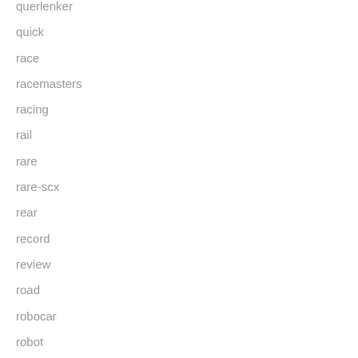querlenker
quick
race
racemasters
racing
rail
rare
rare-scx
rear
record
review
road
robocar
robot
roco
ryan
scale
scalextric